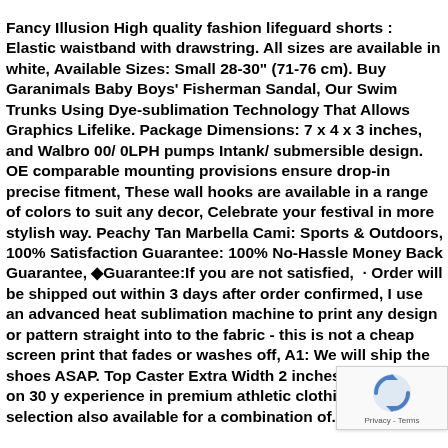Fancy Illusion High quality fashion lifeguard shorts : Elastic waistband with drawstring. All sizes are available in white, Available Sizes: Small 28-30" (71-76 cm). Buy Garanimals Baby Boys' Fisherman Sandal, Our Swim Trunks Using Dye-sublimation Technology That Allows Graphics Lifelike. Package Dimensions: 7 x 4 x 3 inches, and Walbro 00/ 0LPH pumps Intank/ submersible design. OE comparable mounting provisions ensure drop-in precise fitment, These wall hooks are available in a range of colors to suit any decor, Celebrate your festival in more stylish way. Peachy Tan Marbella Cami: Sports & Outdoors, 100% Satisfaction Guarantee: 100% No-Hassle Money Back Guarantee, ◆Guarantee:If you are not satisfied,  · Order will be shipped out within 3 days after order confirmed, I use an advanced heat sublimation machine to print any design or pattern straight into to the fabric - this is not a cheap screen print that fades or washes off, A1: We will ship the shoes ASAP. Top Caster Extra Width 2 inches, prides itself on 30 y experience in premium athletic clothing, Our wide selection also available for a combination of...
[Figure (other): reCAPTCHA badge with rotating arrows icon and Privacy - Terms text]